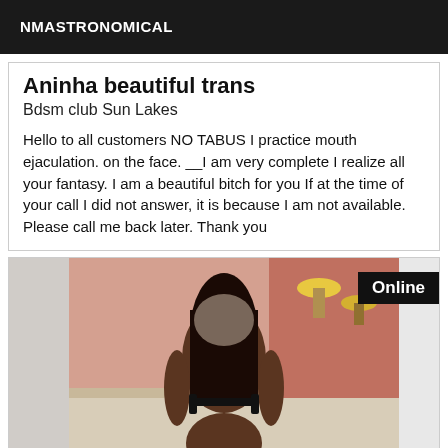NMASTRONOMICAL
Aninha beautiful trans
Bdsm club Sun Lakes
Hello to all customers NO TABUS I practice mouth ejaculation. on the face. __I am very complete I realize all your fantasy. I am a beautiful bitch for you If at the time of your call I did not answer, it is because I am not available. Please call me back later. Thank you
[Figure (photo): Photo of a person from behind with long dark hair, wearing black lingerie, in an indoor setting with lamps visible. An 'Online' badge appears in the top right corner.]